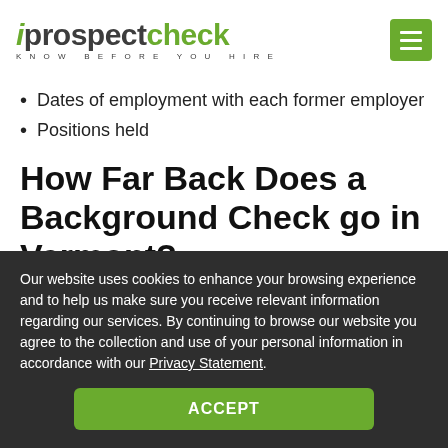iprospectcheck KNOW BEFORE YOU HIRE
Dates of employment with each former employer
Positions held
How Far Back Does a Background Check go in Vermont?
Our website uses cookies to enhance your browsing experience and to help us make sure you receive relevant information regarding our services. By continuing to browse our website you agree to the collection and use of your personal information in accordance with our Privacy Statement.